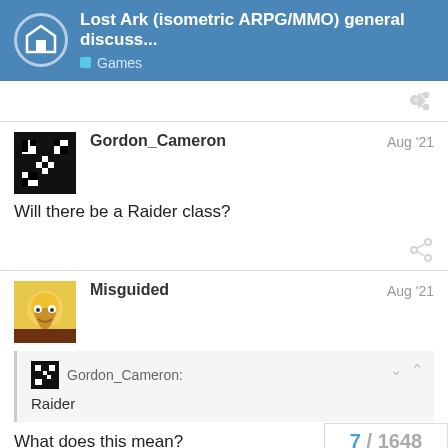Lost Ark (isometric ARPG/MMO) general discuss... Games
Will there be a Raider class?
Gordon_Cameron: Raider
What does this mean?